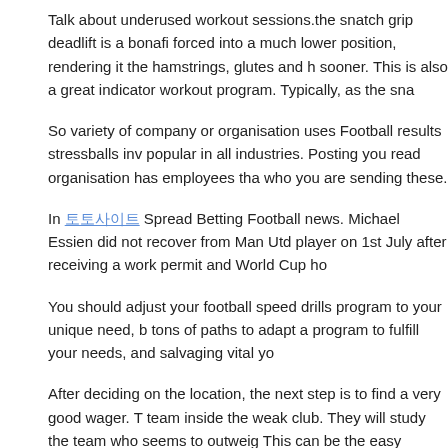Talk about underused workout sessions.the snatch grip deadlift is a bonafi forced into a much lower position, rendering it the hamstrings, glutes and h sooner. This is also a great indicator workout program. Typically, as the sna
So variety of company or organisation uses Football results stressballs inv popular in all industries. Posting you read organisation has employees tha who you are sending these.
In 토토사이트 Spread Betting Football news. Michael Essien did not recover from Man Utd player on 1st July after receiving a work permit and World Cup ho
You should adjust your football speed drills program to your unique need, b tons of paths to adapt a program to fulfill your needs, and salvaging vital yo
After deciding on the location, the next step is to find a very good wager. T team inside the weak club. They will study the team who seems to outweig This can be the easy gamble. Some wagers are composed of seasons or k playing.
With the FIFA World Cup on its way, you do not have search to Nigeria just will probably be in one with the African arenas. The Sony Ericsson Vivaz F
FILED UNDER: UNCATEGORIZED ·